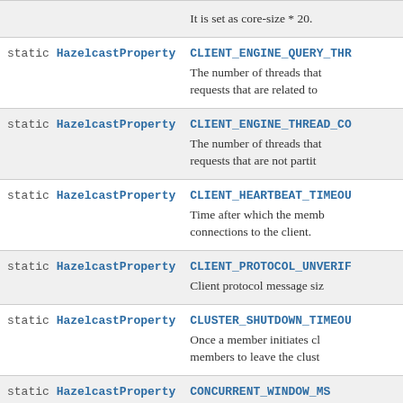| Modifier and Type | Field and Description |
| --- | --- |
| static HazelcastProperty | CLIENT_ENGINE_QUERY_THR...
The number of threads that... requests that are related to... |
| static HazelcastProperty | CLIENT_ENGINE_THREAD_CO...
The number of threads that... requests that are not partit... |
| static HazelcastProperty | CLIENT_HEARTBEAT_TIMEOU...
Time after which the memb... connections to the client. |
| static HazelcastProperty | CLIENT_PROTOCOL_UNVERIF...
Client protocol message siz... |
| static HazelcastProperty | CLUSTER_SHUTDOWN_TIMEOU...
Once a member initiates cl... members to leave the clust... |
| static HazelcastProperty | CONCURRENT_WINDOW_MS
Property needed for concu... done correctly. |